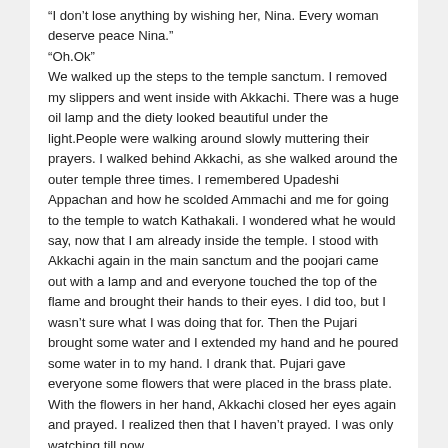“I don’t lose anything by wishing her, Nina. Every woman deserve peace Nina.”
“Oh.Ok”
We walked up the steps to the temple sanctum. I removed my slippers and went inside with Akkachi. There was a huge oil lamp and the diety looked beautiful under the light.People were walking around slowly muttering their prayers. I walked behind Akkachi, as she walked around the outer temple three times. I remembered Upadeshi Appachan and how he scolded Ammachi and me for going to the temple to watch Kathakali. I wondered what he would say, now that I am already inside the temple. I stood with Akkachi again in the main sanctum and the poojari came out with a lamp and and everyone touched the top of the flame and brought their hands to their eyes. I did too, but I wasn’t sure what I was doing that for. Then the Pujari brought some water and I extended my hand and he poured some water in to my hand. I drank that. Pujari gave everyone some flowers that were placed in the brass plate. With the flowers in her hand, Akkachi closed her eyes again and prayed. I realized then that I haven’t prayed. I was only watching till now.